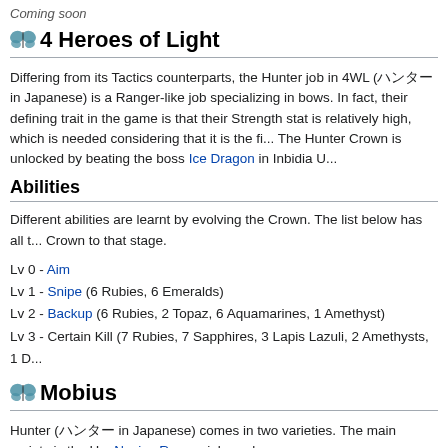Coming soon
4 Heroes of Light
Differing from its Tactics counterparts, the Hunter job in 4WL (ハンター in Japanese) is a Ranger-like job specializing in bows. In fact, their defining trait in the game is that their Strength stat is relatively high, which is needed considering that it is the first... The Hunter Crown is unlocked by beating the boss Ice Dragon in Inbidia U...
Abilities
Different abilities are learnt by evolving the Crown. The list below has all t... Crown to that stage.
Lv 0 - Aim
Lv 1 - Snipe (6 Rubies, 6 Emeralds)
Lv 2 - Backup (6 Rubies, 2 Topaz, 6 Aquamarines, 1 Amethyst)
Lv 3 - Certain Kill (7 Rubies, 7 Sapphires, 3 Lapis Lazuli, 2 Amethysts, 1 D...
Mobius
Hunter (ハンター in Japanese) comes in two varieties. The main variety is the H... Novice Ranger job card.
Hunter (Card)
Basics